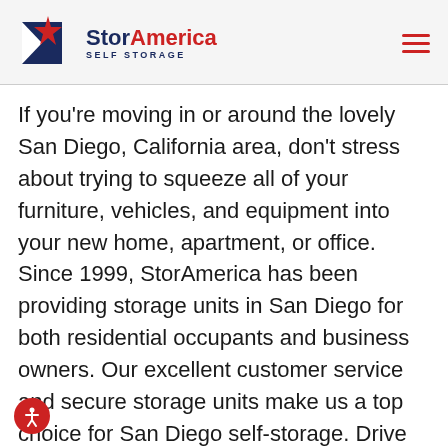[Figure (logo): StorAmerica Self Storage logo with a red star and blue/white arrow graphic, company name in navy and red]
If you're moving in or around the lovely San Diego, California area, don't stress about trying to squeeze all of your furniture, vehicles, and equipment into your new home, apartment, or office. Since 1999, StorAmerica has been providing storage units in San Diego for both residential occupants and business owners. Our excellent customer service and secure storage units make us a top choice for San Diego self-storage. Drive right up to your storage unit, load or unload, and conveniently store your items. Maybe you're in between